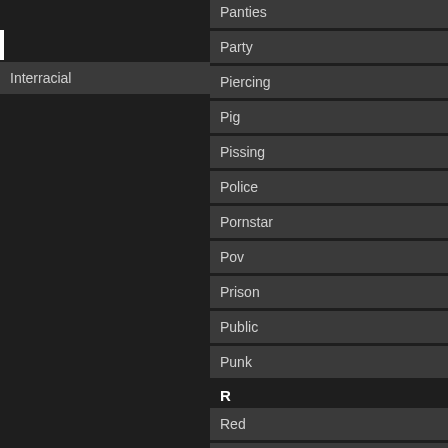Panties
Interracial
Party
Piercing
Pig
Pissing
Police
Pornstar
Pov
Prison
Public
Punk
R
Red
Rimming
Rough
Russian